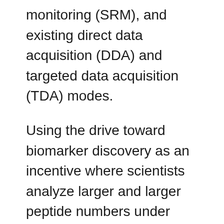monitoring (SRM), and existing direct data acquisition (DDA) and targeted data acquisition (TDA) modes.
Using the drive toward biomarker discovery as an incentive where scientists analyze larger and larger peptide numbers under increasingly efficient instrument operation, Gallien et al. propose a targeted workflow with internal standard monitoring switching mass spectrometry operation between “watch mode” and “quantitative mode” for data acquisition. The team accomplished this with stable isotope labeled (SIL) internal peptide references spiked into experimental samples. In this way, they describe instrument control as dynamic and occurring in real time through continual monitoring of the tandem mass spectrometry (MS/MS) spectra generated